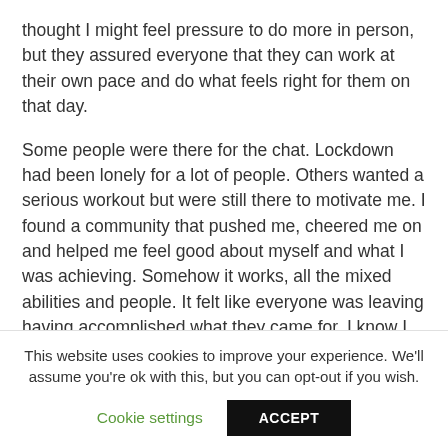thought I might feel pressure to do more in person, but they assured everyone that they can work at their own pace and do what feels right for them on that day.
Some people were there for the chat. Lockdown had been lonely for a lot of people. Others wanted a serious workout but were still there to motivate me. I found a community that pushed me, cheered me on and helped me feel good about myself and what I was achieving. Somehow it works, all the mixed abilities and people. It felt like everyone was leaving having accomplished what they came for. I know I get more from it than I believed I would and have even found a few running partners!
This website uses cookies to improve your experience. We'll assume you're ok with this, but you can opt-out if you wish.
Cookie settings
ACCEPT